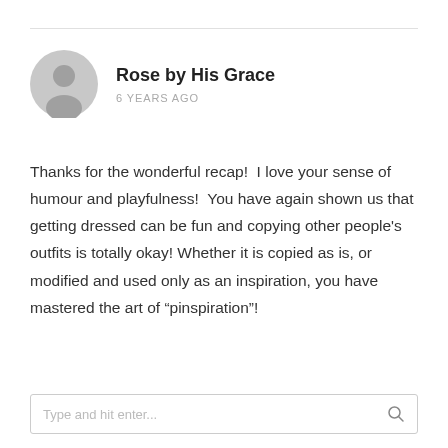Rose by His Grace
6 YEARS AGO
Thanks for the wonderful recap!  I love your sense of humour and playfulness!  You have again shown us that getting dressed can be fun and copying other people’s outfits is totally okay!  Whether it is copied as is, or modified and used only as an inspiration, you have mastered the art of “pinspiration”!
Type and hit enter...